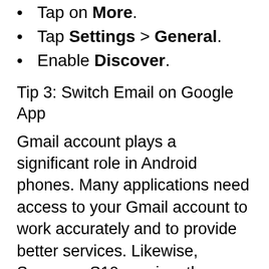Tap on More.
Tap Settings > General.
Enable Discover.
Tip 3: Switch Email on Google App
Gmail account plays a significant role in Android phones. Many applications need access to your Gmail account to work accurately and to provide better services. Likewise, Samsung S10 requires the same. If you are using more than one Gmail account on S10, then better be a switch and verify that Newsfeed has restored its functionality like before.
Open Google App.
Select More.
Tap on Gmail Account to expand more accounts.